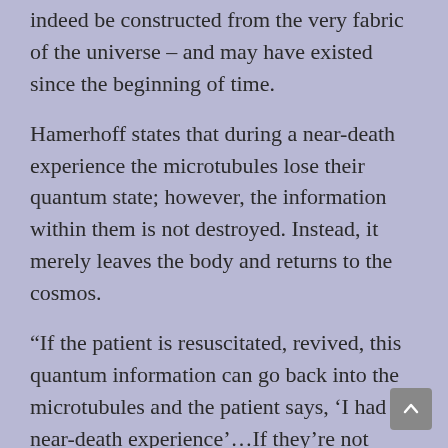indeed be constructed from the very fabric of the universe – and may have existed since the beginning of time.
Hamerhoff states that during a near-death experience the microtubules lose their quantum state; however, the information within them is not destroyed. Instead, it merely leaves the body and returns to the cosmos.
“If the patient is resuscitated, revived, this quantum information can go back into the microtubules and the patient says, ‘I had a near-death experience’...If they’re not revived, and the patient dies, it’s possible that this quantum information can exist outside the body, perhaps indefinitely, as a soul.” Hamerhoff